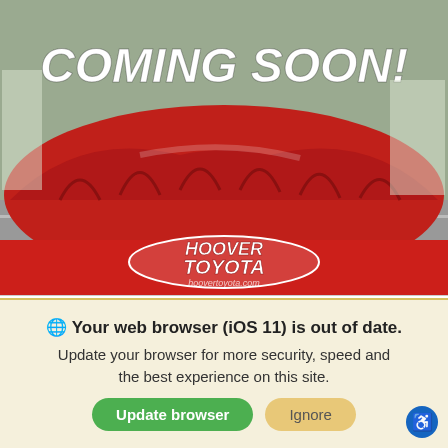[Figure (photo): Car covered with red cloth/drape on a parking lot background, with 'COMING SOON!' text overlay and Hoover Toyota dealership logo bar at the bottom of the image]
New 2022 Toyota Corolla FWD LE
Continuously Variable Transmission
Sale Pending; Vehicle may be in transit. Contact dealer to confirm availability date.
MSRP¹  $22,996
Your web browser (iOS 11) is out of date. Update your browser for more security, speed and the best experience on this site.